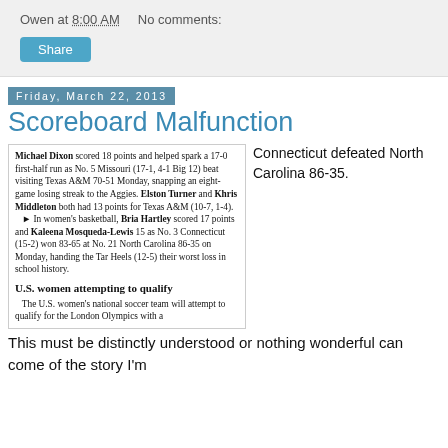Owen at 8:00 AM   No comments:
Share
Friday, March 22, 2013
Scoreboard Malfunction
[Figure (photo): Newspaper clipping with sports scores. Text begins with 'Michael Dixon scored 18 points and helped spark a 17-0 first-half run as No. 5 Missouri (17-1, 4-1 Big 12) beat visiting Texas A&M 70-51 Monday, snapping an eight-game losing streak to the Aggies. Elston Turner and Khris Middleton both had 13 points for Texas A&M (10-7, 1-4). In women's basketball, Bria Hartley scored 17 points and Kaleena Mosqueda-Lewis 15 as No. 3 Connecticut (15-2) won 83-65 at No. 21 North Carolina 86-35 on Monday, handing the Tar Heels (12-5) their worst loss in school history. U.S. women attempting to qualify. The U.S. women's national soccer team will attempt to qualify for the London Olympics with a...']
Connecticut defeated North Carolina 86-35. This must be distinctly understood or nothing wonderful can come of the story I'm